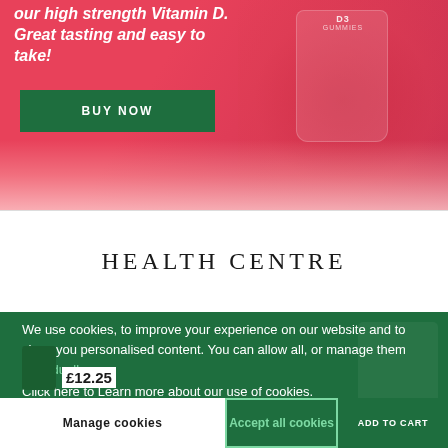[Figure (photo): Hero banner with pink/red background showing Vitamin D3 Gummies product bottle with berries and red background, partially visible product packaging]
our high strength Vitamin D. Great tasting and easy to take!
BUY NOW
HEALTH CENTRE
We use cookies, to improve your experience on our website and to show you personalised content. You can allow all, or manage them individually
Click here to Learn more about our use of cookies.
£12.25
Manage cookies
Accept all cookies
ADD TO CART